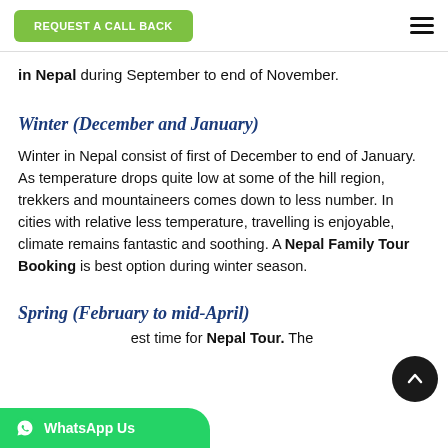REQUEST A CALL BACK
in Nepal during September to end of November.
Winter (December and January)
Winter in Nepal consist of first of December to end of January. As temperature drops quite low at some of the hill region, trekkers and mountaineers comes down to less number. In cities with relative less temperature, travelling is enjoyable, climate remains fantastic and soothing. A Nepal Family Tour Booking is best option during winter season.
Spring (February to mid-April)
best time for Nepal Tour. The